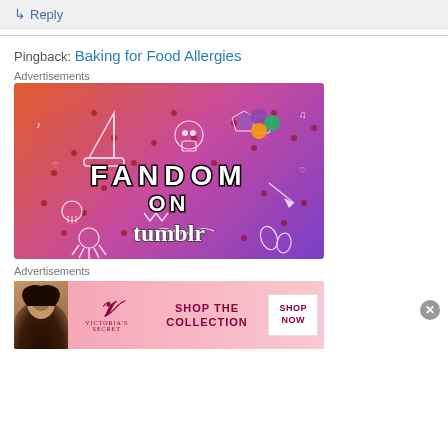↳ Reply
Pingback: Baking for Food Allergies
Advertisements
[Figure (illustration): Fandom on Tumblr advertisement banner with colorful gradient background featuring doodles and text reading FANDOM ON tumblr]
Advertisements
[Figure (illustration): Victoria's Secret advertisement: Shop the Collection - Shop Now banner ad]